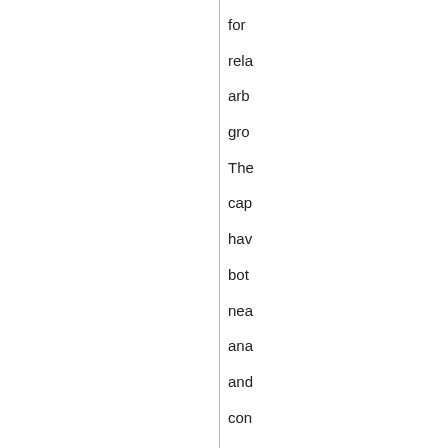for rela arb gro The cap hav bot nea ana and con eco in the ran wh the Co hav pre ope eco in son